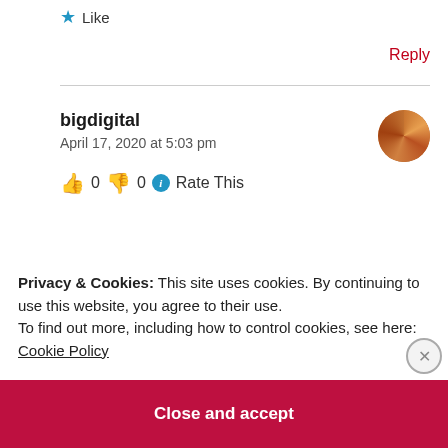★ Like
Reply
bigdigital
April 17, 2020 at 5:03 pm
👍 0 👎 0 ℹ Rate This
Privacy & Cookies: This site uses cookies. By continuing to use this website, you agree to their use.
To find out more, including how to control cookies, see here:
Cookie Policy
Close and accept